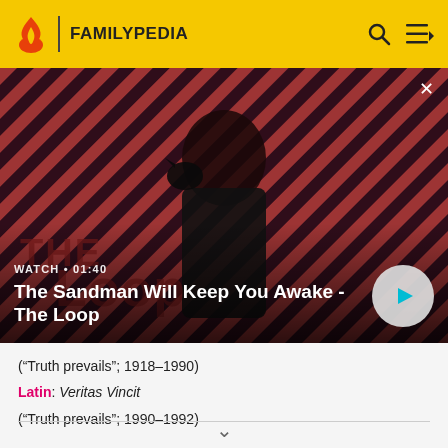FAMILYPEDIA
[Figure (screenshot): Video thumbnail for 'The Sandman Will Keep You Awake - The Loop' showing a dark-clad figure with a raven on shoulder against a red and dark striped background. Shows WATCH • 01:40 label and play button.]
("Truth prevails"; 1918–1990)
Latin: Veritas Vincit
("Truth prevails"; 1990–1992)